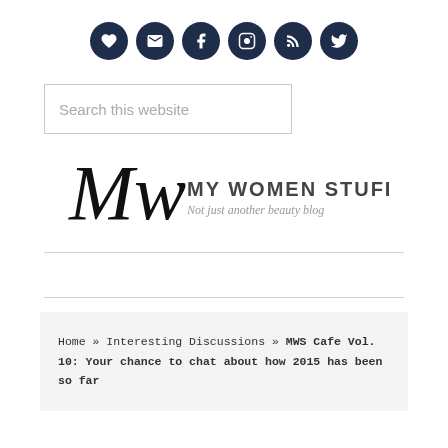[Figure (other): Row of 6 dark navy circular social media icon buttons: heart/bookmark, email/envelope, Facebook, Instagram, RSS feed, Twitter]
[Figure (other): Search box with placeholder text 'Search this website']
[Figure (logo): My Women Stuff blog logo — decorative script 'Mw' combined with 'MY WOMEN STUFF' in uppercase and tagline 'Not just another beauty blog']
[Figure (other): Hamburger menu icon (three horizontal lines)]
Home » Interesting Discussions » MWS Cafe Vol. 10: Your chance to chat about how 2015 has been so far